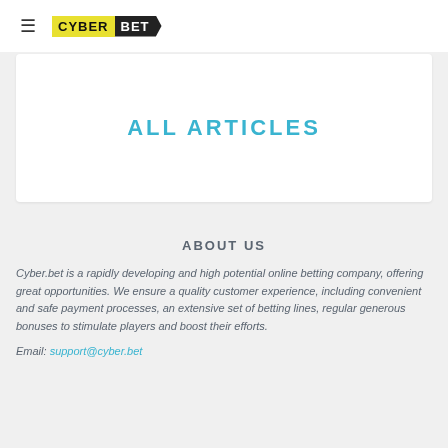≡ CYBER BET
ALL ARTICLES
ABOUT US
Cyber.bet is a rapidly developing and high potential online betting company, offering great opportunities. We ensure a quality customer experience, including convenient and safe payment processes, an extensive set of betting lines, regular generous bonuses to stimulate players and boost their efforts.
Email: support@cyber.bet